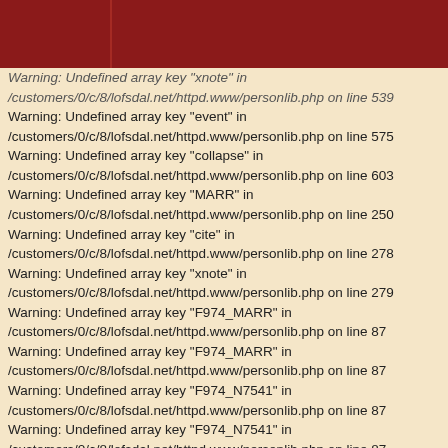Warning: Undefined array key "xnote" in /customers/0/c/8/lofsdal.net/httpd.www/personlib.php on line 539
Warning: Undefined array key "event" in /customers/0/c/8/lofsdal.net/httpd.www/personlib.php on line 575
Warning: Undefined array key "collapse" in /customers/0/c/8/lofsdal.net/httpd.www/personlib.php on line 603
Warning: Undefined array key "MARR" in /customers/0/c/8/lofsdal.net/httpd.www/personlib.php on line 250
Warning: Undefined array key "cite" in /customers/0/c/8/lofsdal.net/httpd.www/personlib.php on line 278
Warning: Undefined array key "xnote" in /customers/0/c/8/lofsdal.net/httpd.www/personlib.php on line 279
Warning: Undefined array key "F974_MARR" in /customers/0/c/8/lofsdal.net/httpd.www/personlib.php on line 87
Warning: Undefined array key "F974_MARR" in /customers/0/c/8/lofsdal.net/httpd.www/personlib.php on line 87
Warning: Undefined array key "F974_N7541" in /customers/0/c/8/lofsdal.net/httpd.www/personlib.php on line 87
Warning: Undefined array key "F974_N7541" in /customers/0/c/8/lofsdal.net/httpd.www/personlib.php on line 87
Warning: Undefined array key "marrtype" in /customers/0/c/8/lofsdal.net/httpd.www/getperson.php on line 356
Warning: Undefined array key "MARR" in /customers/0/c/8/lofsdal.net/httpd.www/getperson.php on line 362
Warning: Undefined array key "DIV" in /customers/0/c/8/lofsdal.net/httpd.www/getperson.php on line 363